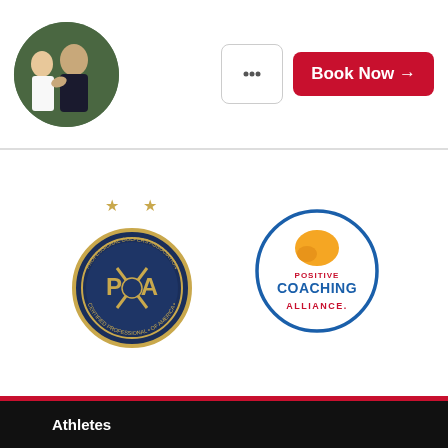[Figure (photo): Circular profile photo of a golf instructor/coach with another person in outdoor golf setting]
[Figure (other): Message/chat button with ellipsis icon]
[Figure (other): Red Book Now button with arrow]
[Figure (logo): PGA Professional Golfers Association of America certified professional badge with two gold stars above]
[Figure (logo): Positive Coaching Alliance circular logo with orange whistle icon]
Athletes
Sign-Up
Discover
Directory